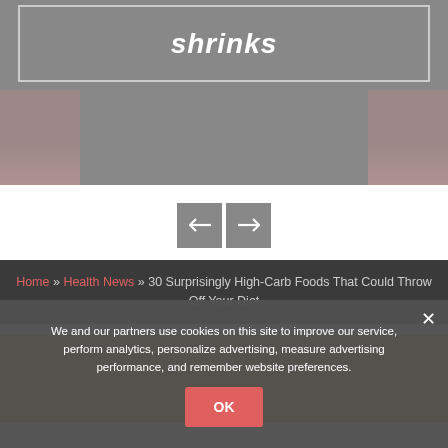[Figure (screenshot): Top slider image area with a box containing the word 'shrinks' in italic white text, on a gray background with blurred hands visible on sides]
[Figure (screenshot): Navigation arrows (left and right) on white background for a slideshow]
Home » Health News » 30 Surprisingly High-Carb Foods That Could Throw Off Your Diet
[Figure (photo): Photo of sliced oranges/citrus fruits, yellow-orange color, viewed from above]
We and our partners use cookies on this site to improve our service, perform analytics, personalize advertising, measure advertising performance, and remember website preferences.
OK